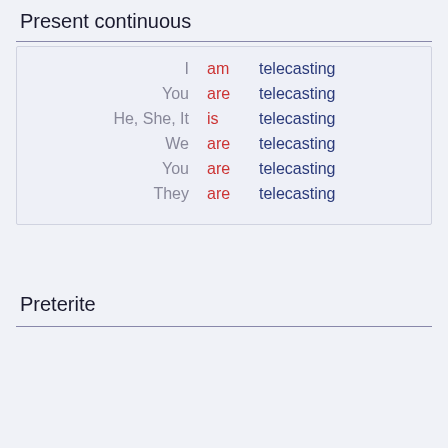Present continuous
| I | am | telecasting |
| You | are | telecasting |
| He, She, It | is | telecasting |
| We | are | telecasting |
| You | are | telecasting |
| They | are | telecasting |
Preterite